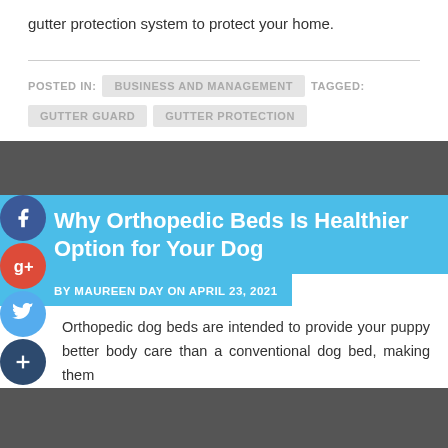gutter protection system to protect your home.
POSTED IN: BUSINESS AND MANAGEMENT  TAGGED: GUTTER GUARD  GUTTER PROTECTION
Why Orthopedic Beds Is Healthier Option for Your Dog
BY MAUREEN DAY ON APRIL 23, 2021
Orthopedic dog beds are intended to provide your puppy better body care than a conventional dog bed, making them